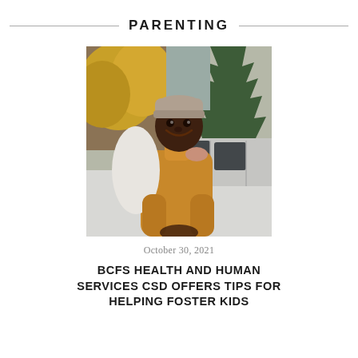PARENTING
[Figure (photo): A smiling Black man wearing a mustard/golden turtleneck sweater and a grey knit beanie hat, leaning against a white car. Someone's hand is on his shoulder. Trees with autumn foliage and an evergreen tree visible in the background.]
October 30, 2021
BCFS HEALTH AND HUMAN SERVICES CSD OFFERS TIPS FOR HELPING FOSTER KIDS